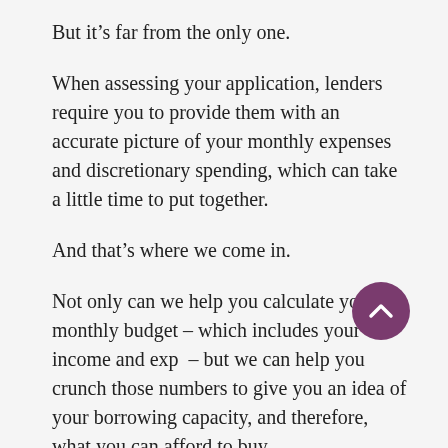But it’s far from the only one.
When assessing your application, lenders require you to provide them with an accurate picture of your monthly expenses and discretionary spending, which can take a little time to put together.
And that’s where we come in.
Not only can we help you calculate your monthly budget – which includes your income and exp… – but we can help you crunch those numbers to give you an idea of your borrowing capacity, and therefore, what you can afford to buy.